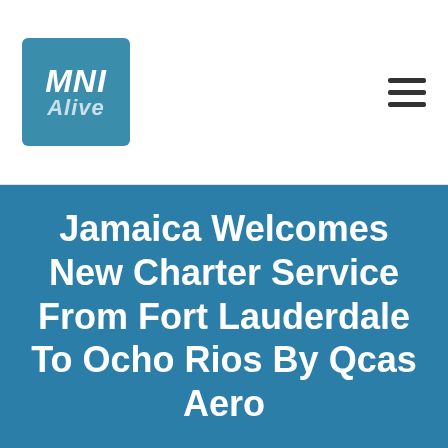MNI Alive
Jamaica Welcomes New Charter Service From Fort Lauderdale To Ocho Rios By Qcas Aero